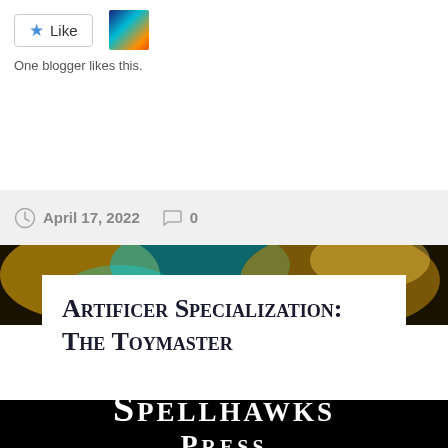[Figure (screenshot): Like button with star icon, followed by a small avatar thumbnail showing a colorful galaxy/fireworks image]
One blogger likes this.
April 17, 2022   0
[Figure (photo): Decorative background with gold and teal glowing abstract shapes]
Artificer Specialization: The Toymaster
[Figure (logo): Spellhawks Press logo in white serif text on black background]